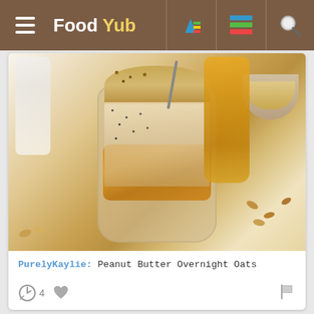Food Yub
[Figure (photo): Glass jar of peanut butter overnight oats with oats sprinkled on top and peanut butter swirled inside, surrounded by scattered oats and peanuts on a marble surface, with a bottle of liquid in the background]
PurelyKaylie: Peanut Butter Overnight Oats
4 (comment count) heart/like icon, flag icon
[Figure (photo): Partial view of a food dish with Pin it, Facebook, Twitter share buttons and count 0 overlaid]